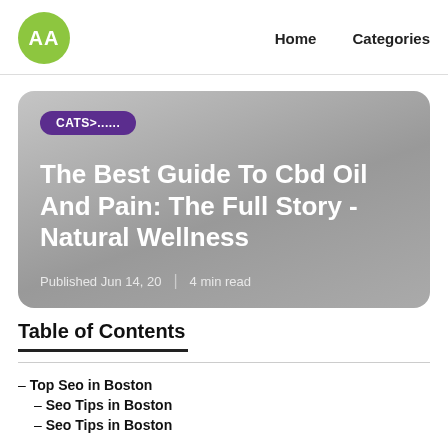AA  Home  Categories
[Figure (other): Article card with gradient gray background, purple CATS>...... tag, article title 'The Best Guide To Cbd Oil And Pain: The Full Story - Natural Wellness', and metadata 'Published Jun 14, 20 | 4 min read']
Table of Contents
– Top Seo in Boston
– Seo Tips in Boston
– Seo Tips in Boston